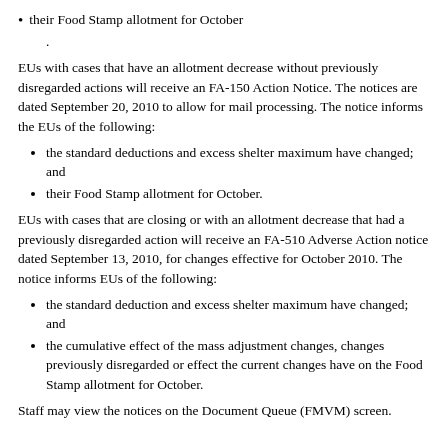their Food Stamp allotment for October
.
EUs with cases that have an allotment decrease without previously disregarded actions will receive an FA-150 Action Notice. The notices are dated September 20, 2010 to allow for mail processing. The notice informs the EUs of the following:
the standard deductions and excess shelter maximum have changed; and
their Food Stamp allotment for October.
EUs with cases that are closing or with an allotment decrease that had a previously disregarded action will receive an FA-510 Adverse Action notice dated September 13, 2010, for changes effective for October 2010. The notice informs EUs of the following:
the standard deduction and excess shelter maximum have changed; and
the cumulative effect of the mass adjustment changes, changes previously disregarded or effect the current changes have on the Food Stamp allotment for October.
Staff may view the notices on the Document Queue (FMVM) screen.